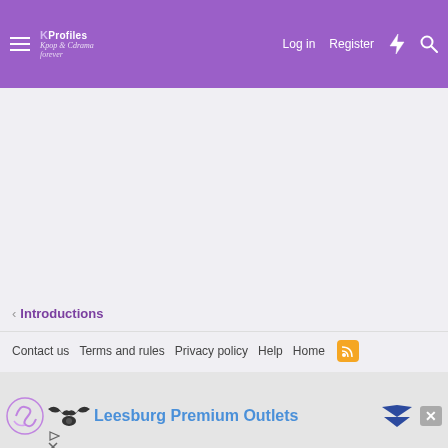KProfiles — Log in   Register
Introductions
Contact us   Terms and rules   Privacy policy   Help   Home
[Figure (screenshot): Advertisement banner for Leesburg Premium Outlets with circular logo, brand icon, blue text, bird icon, and close button]